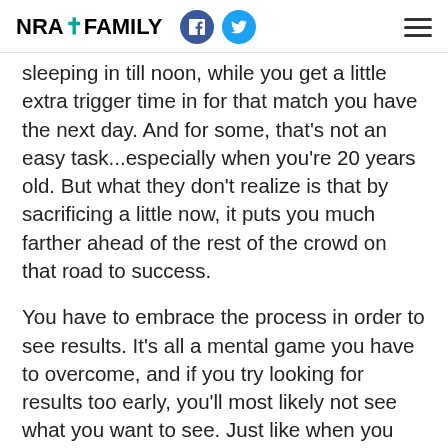NRA FAMILY
sleeping in till noon, while you get a little extra trigger time in for that match you have the next day. And for some, that's not an easy task...especially when you're 20 years old. But what they don't realize is that by sacrificing a little now, it puts you much farther ahead of the rest of the crowd on that road to success.
You have to embrace the process in order to see results. It's all a mental game you have to overcome, and if you try looking for results too early, you'll most likely not see what you want to see. Just like when you take a shot, you have to follow through. If you don't follow through and instead immediately look at the screen to see if you got that 10.9*, you'll be extremely disappointed because you didn't finish the